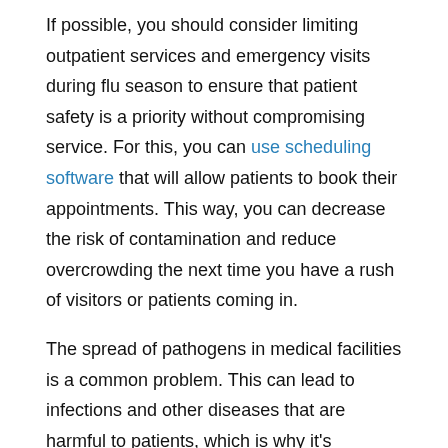If possible, you should consider limiting outpatient services and emergency visits during flu season to ensure that patient safety is a priority without compromising service. For this, you can use scheduling software that will allow patients to book their appointments. This way, you can decrease the risk of contamination and reduce overcrowding the next time you have a rush of visitors or patients coming in.
The spread of pathogens in medical facilities is a common problem. This can lead to infections and other diseases that are harmful to patients, which is why it's important to reduce the risk of this happening at all times. By following these tips, you'll be able to reduce the spread of pathogens in your facility without compromising safety or service levels any more than they already have been due to poor conditions.